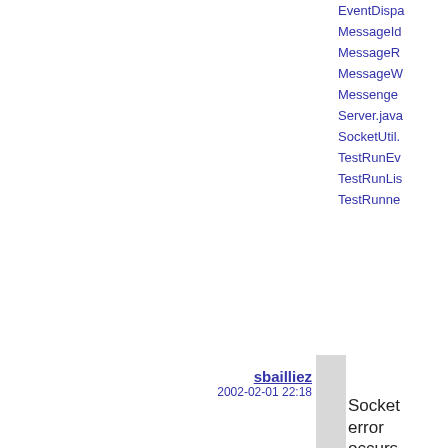EventDispa
MessageId
MessageR
MessageW
Messenge
Server.java
SocketUtil.
TestRunEv
TestRunLis
TestRunne
sbailliez
2002-02-01 22:18
Socket error occurs when running multiple times...there must be something

wrong with the shutdown